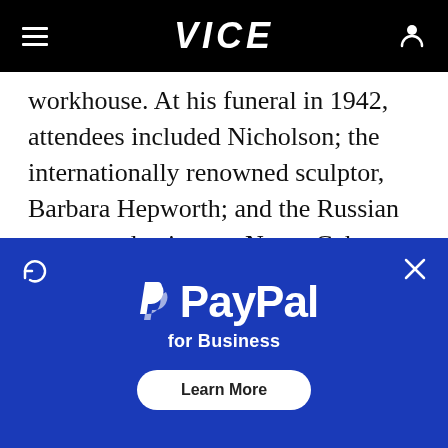VICE
workhouse. At his funeral in 1942, attendees included Nicholson; the internationally renowned sculptor, Barbara Hepworth; and the Russian avant garde pioneer, Naum Gabo. His tomb was made by the world famous potter, Bernard Leach.
ADVERTISEMENT
[Figure (screenshot): PayPal for Business advertisement banner with PayPal logo, tagline 'for Business', and a 'Learn More' button on a dark blue background. Includes a refresh icon on the left and an X close button on the right.]